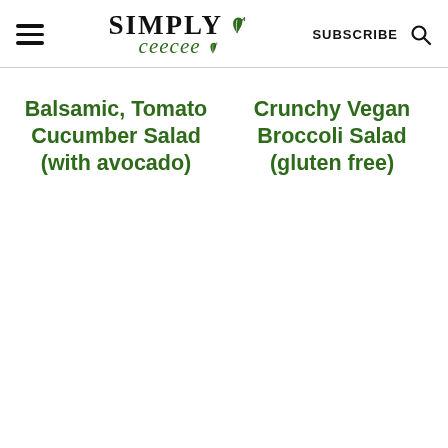Simply CeeCee — SUBSCRIBE
Balsamic, Tomato Cucumber Salad (with avocado)
Crunchy Vegan Broccoli Salad (gluten free)